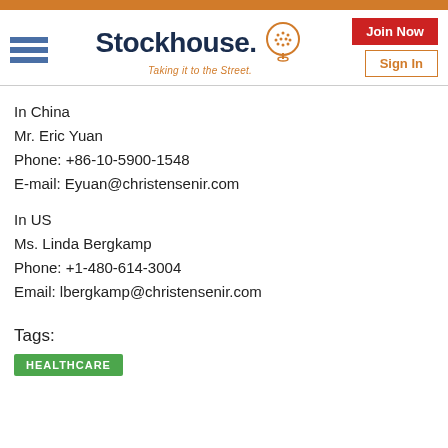[Figure (logo): Stockhouse logo with hamburger menu icon, company name 'Stockhouse.' with head icon, tagline 'Taking it to the Street.', Join Now red button, Sign In orange-bordered button]
In China
Mr. Eric Yuan
Phone: +86-10-5900-1548
E-mail: Eyuan@christensenir.com
In US
Ms. Linda Bergkamp
Phone: +1-480-614-3004
Email: lbergkamp@christensenir.com
Tags:
HEALTHCARE